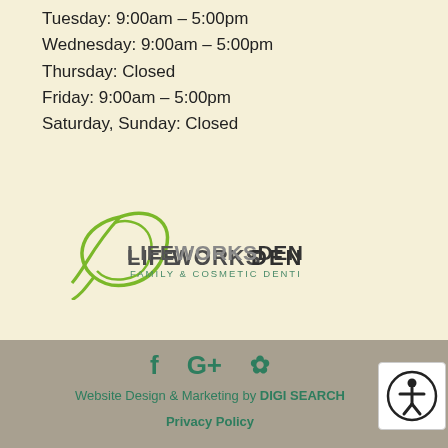Tuesday: 9:00am – 5:00pm
Wednesday: 9:00am – 5:00pm
Thursday: Closed
Friday: 9:00am – 5:00pm
Saturday, Sunday: Closed
[Figure (logo): Life Works Dental Family & Cosmetic Dentistry logo with green leaf graphic]
Website Design & Marketing by DIGI SEARCH   Privacy Policy